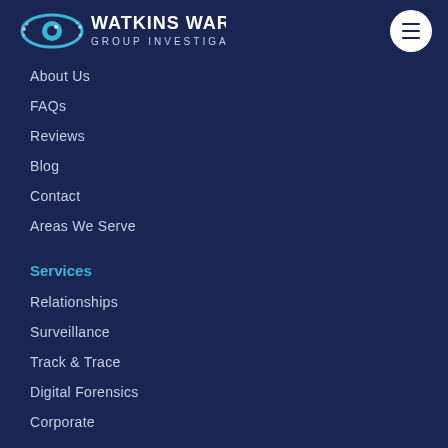[Figure (logo): Watkins Ward Group Investigations logo with eye icon in blue tones]
About Us
FAQs
Reviews
Blog
Contact
Areas We Serve
Services
Relationships
Surveillance
Track & Trace
Digital Forensics
Corporate